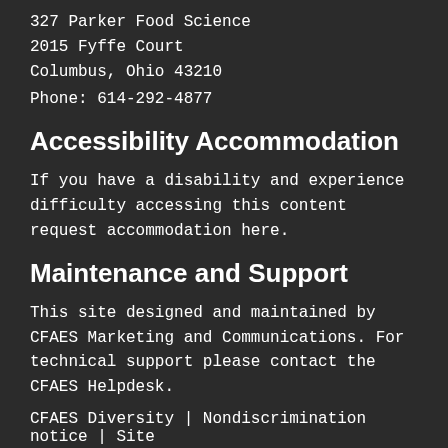327 Parker Food Science
2015 Fyffe Court
Columbus, Ohio 43210
Phone: 614-292-4877
Accessibility Accommodation
If you have a disability and experience difficulty accessing this content request accommodation here.
Maintenance and Support
This site designed and maintained by CFAES Marketing and Communications. For technical support please contact the CFAES Helpdesk.
CFAES Diversity | Nondiscrimination notice | Site